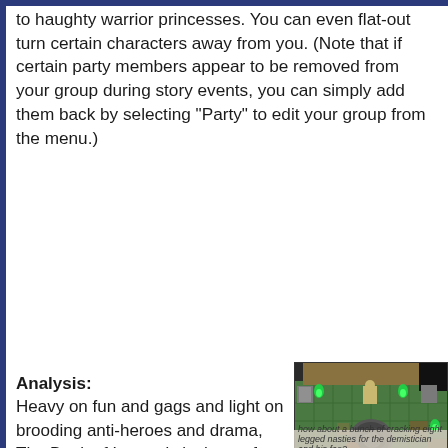to haughty warrior princesses. You can even flat-out turn certain characters away from you. (Note that if certain party members appear to be removed from your group during story events, you can simply add them back by selecting "Party" to edit your group from the menu.)
Analysis: Heavy on fun and gags and light on brooding anti-heroes and drama, The Book of Legends is the perfect choice if...
[Figure (screenshot): Top-down RPG game screenshot showing a dungeon/temple room with green tile floor, stone pillars, green flame torches, a large circular floor tile with a serpent/snake symbol in the center, and a player character in purple visible near the bottom center. Stone skeleton enemies and various items are scattered around the room.]
how about a bunch of cracking eight legged nasties for the demistician and his fao?